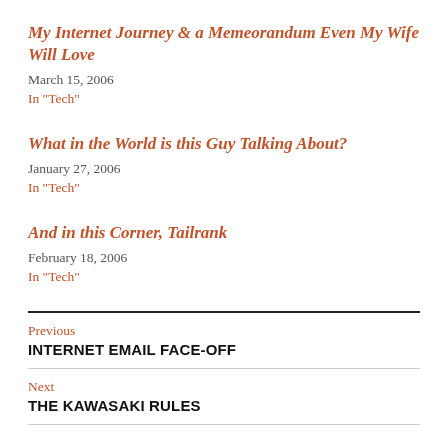My Internet Journey & a Memeorandum Even My Wife Will Love
March 15, 2006
In "Tech"
What in the World is this Guy Talking About?
January 27, 2006
In "Tech"
And in this Corner, Tailrank
February 18, 2006
In "Tech"
Previous
INTERNET EMAIL FACE-OFF
Next
THE KAWASAKI RULES